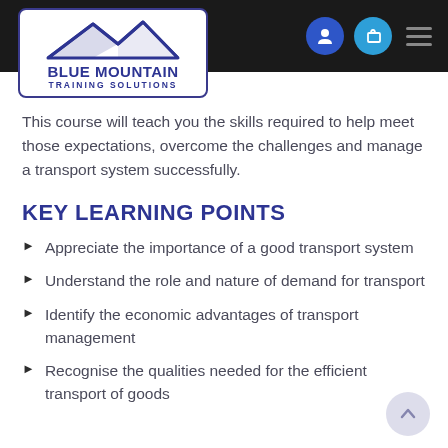[Figure (logo): Blue Mountain Training Solutions logo — mountain silhouette above text in a rounded rectangle border]
This course will teach you the skills required to help meet those expectations, overcome the challenges and manage a transport system successfully.
KEY LEARNING POINTS
Appreciate the importance of a good transport system
Understand the role and nature of demand for transport
Identify the economic advantages of transport management
Recognise the qualities needed for the efficient transport of goods